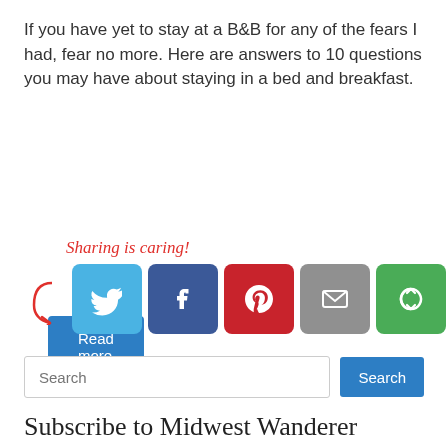If you have yet to stay at a B&B for any of the fears I had, fear no more. Here are answers to 10 questions you may have about staying in a bed and breakfast.
Read more
[Figure (infographic): Sharing is caring! text with arrow pointing to social media share buttons: Twitter (blue bird), Facebook (dark blue f), Pinterest (red P), Email (grey envelope), Share (green circular arrows)]
Search
Subscribe to Midwest Wanderer